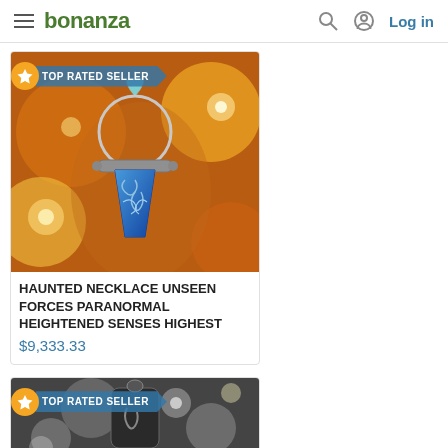bonanza — Log in
[Figure (screenshot): Bonanza marketplace product listing page showing a haunted necklace with blue stone pendant and a 'TOP RATED SELLER' badge]
HAUNTED NECKLACE UNSEEN FORCES PARANORMAL HEIGHTENED SENSES HIGHEST
$9,333.33
[Figure (photo): Second product listing with TOP RATED SELLER badge, partially visible]